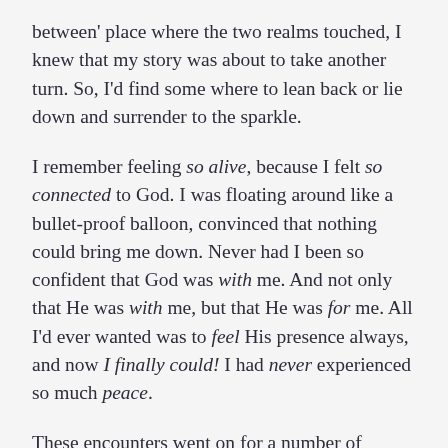between' place where the two realms touched, I knew that my story was about to take another turn. So, I'd find some where to lean back or lie down and surrender to the sparkle.
I remember feeling so alive, because I felt so connected to God. I was floating around like a bullet-proof balloon, convinced that nothing could bring me down. Never had I been so confident that God was with me. And not only that He was with me, but that He was for me. All I'd ever wanted was to feel His presence always, and now I finally could! I had never experienced so much peace.
These encounters went on for a number of weeks, and then one day they stopped. I waited … and waited and prayed. I went and sobbed. I must have asked 100...